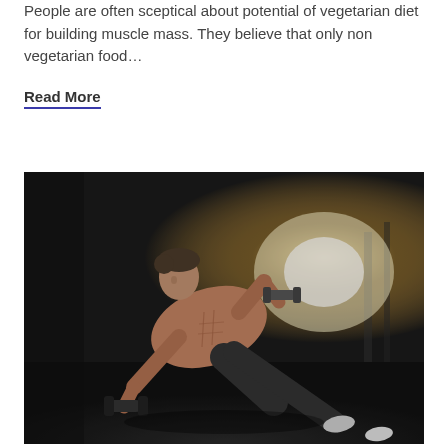People are often sceptical about potential of vegetarian diet for building muscle mass. They believe that only non vegetarian food…
Read More
[Figure (photo): A muscular shirtless man doing a dumbbell push-up exercise in a dark industrial warehouse setting, with bright light in the background.]